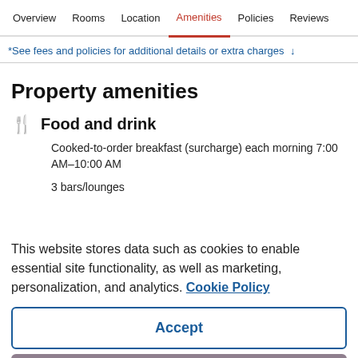Overview  Rooms  Location  Amenities  Policies  Reviews
*See fees and policies for additional details or extra charges ↓
Property amenities
🍴 Food and drink
Cooked-to-order breakfast (surcharge) each morning 7:00 AM–10:00 AM
3 bars/lounges
This website stores data such as cookies to enable essential site functionality, as well as marketing, personalization, and analytics. Cookie Policy
Accept
Deny